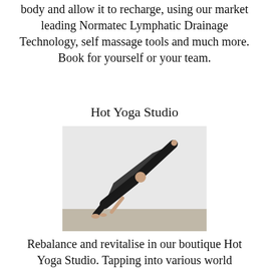body and allow it to recharge, using our market leading Normatec Lymphatic Drainage Technology, self massage tools and much more. Book for yourself or your team.
Hot Yoga Studio
[Figure (photo): Black and white photograph of a person performing a yoga pose — a side plank or wild thing variation — with one arm and both feet on the ground, body forming a diagonal line, arm extended upward, in a studio setting.]
Rebalance and revitalise in our boutique Hot Yoga Studio. Tapping into various world